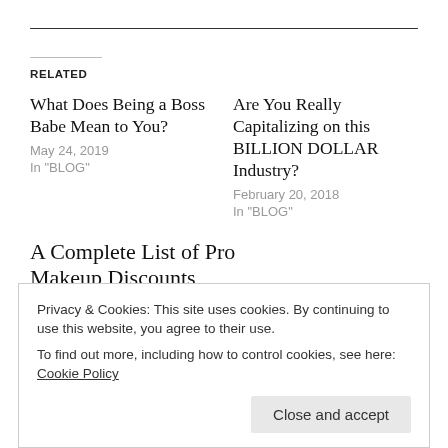RELATED
What Does Being a Boss Babe Mean to You?
May 24, 2019
In "BLOG"
Are You Really Capitalizing on this BILLION DOLLAR Industry?
February 20, 2018
In "BLOG"
A Complete List of Pro Makeup Discounts
Privacy & Cookies: This site uses cookies. By continuing to use this website, you agree to their use.
To find out more, including how to control cookies, see here: Cookie Policy